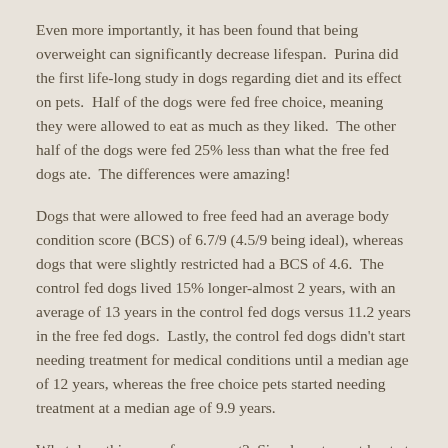Even more importantly, it has been found that being overweight can significantly decrease lifespan.  Purina did the first life-long study in dogs regarding diet and its effect on pets.  Half of the dogs were fed free choice, meaning they were allowed to eat as much as they liked.  The other half of the dogs were fed 25% less than what the free fed dogs ate.  The differences were amazing!
Dogs that were allowed to free feed had an average body condition score (BCS) of 6.7/9 (4.5/9 being ideal), whereas dogs that were slightly restricted had a BCS of 4.6.  The control fed dogs lived 15% longer-almost 2 years, with an average of 13 years in the control fed dogs versus 11.2 years in the free fed dogs.  Lastly, the control fed dogs didn't start needing treatment for medical conditions until a median age of 12 years, whereas the free choice pets started needing treatment at a median age of 9.9 years.
What does this mean for your pet?  Simply put, a pet kept at a healthy weight throughout life is a healthier pet, and has a